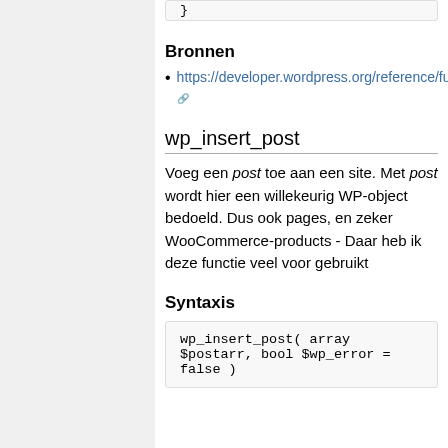}
Bronnen
https://developer.wordpress.org/reference/functions/wp_delete_term/
wp_insert_post
Voeg een post toe aan een site. Met post wordt hier een willekeurig WP-object bedoeld. Dus ook pages, en zeker WooCommerce-products - Daar heb ik deze functie veel voor gebruikt
Syntaxis
wp_insert_post( array $postarr, bool $wp_error = false )